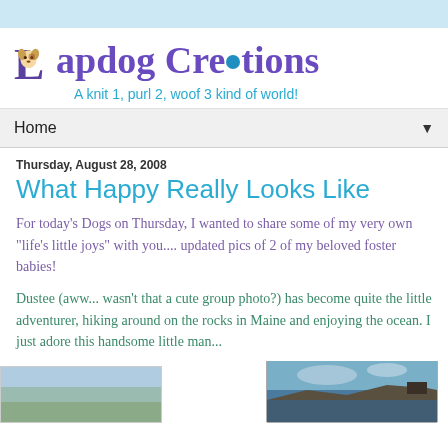Lapdog Creations — A knit 1, purl 2, woof 3 kind of world!
Home
Thursday, August 28, 2008
What Happy Really Looks Like
For today's Dogs on Thursday, I wanted to share some of my very own "life's little joys" with you.... updated pics of 2 of my beloved foster babies!
Dustee (aww... wasn't that a cute group photo?) has become quite the little adventurer, hiking around on the rocks in Maine and enjoying the ocean. I just adore this handsome little man...
[Figure (photo): Outdoor scenic photo showing rocky coastline or hillside in Maine]
[Figure (photo): Partial photo visible at bottom left edge]